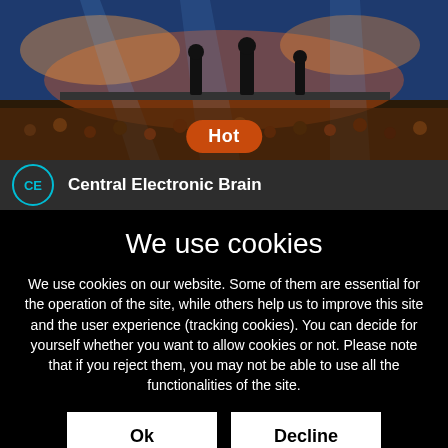[Figure (screenshot): Concert/event photo showing performers on stage with colorful lighting and crowd]
Hot
Central Electronic Brain
We use cookies
We use cookies on our website. Some of them are essential for the operation of the site, while others help us to improve this site and the user experience (tracking cookies). You can decide for yourself whether you want to allow cookies or not. Please note that if you reject them, you may not be able to use all the functionalities of the site.
Ok
Decline
More information